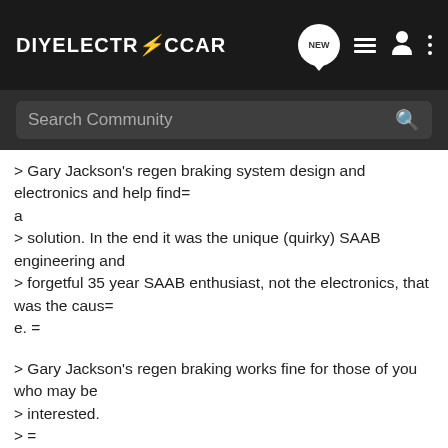DIYELECTRICCAR
> Gary Jackson's regen braking system design and electronics and help find=
a
> solution. In the end it was the unique (quirky) SAAB engineering and
> forgetful 35 year SAAB enthusiast, not the electronics, that was the caus=
e. =
> Gary Jackson's regen braking works fine for those of you who may be
> interested.
> =
> Thanks, Christen